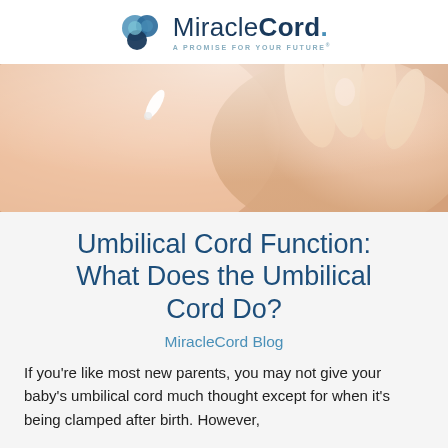MiracleCord. A PROMISE FOR YOUR FUTURE®
[Figure (photo): Close-up photo of a newborn baby with an adult hand gently touching the baby's back/umbilical area against a white background.]
Umbilical Cord Function: What Does the Umbilical Cord Do?
MiracleCord Blog
If you're like most new parents, you may not give your baby's umbilical cord much thought except for when it's being clamped after birth. However, the cord does so much more during development.